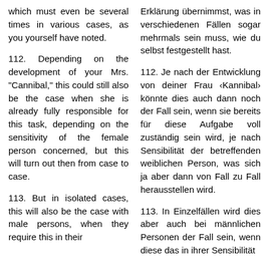which must even be several times in various cases, as you yourself have noted.
Erklärung übernimmst, was in verschiedenen Fällen sogar mehrmals sein muss, wie du selbst festgestellt hast.
112. Depending on the development of your Mrs. "Cannibal," this could still also be the case when she is already fully responsible for this task, depending on the sensitivity of the female person concerned, but this will turn out then from case to case.
112. Je nach der Entwicklung von deiner Frau ‹Kannibal› könnte dies auch dann noch der Fall sein, wenn sie bereits für diese Aufgabe voll zuständig sein wird, je nach Sensibilität der betreffenden weiblichen Person, was sich ja aber dann von Fall zu Fall herausstellen wird.
113. But in isolated cases, this will also be the case with male persons, when they require this in their
113. In Einzelfällen wird dies aber auch bei männlichen Personen der Fall sein, wenn diese das in ihrer Sensibilität